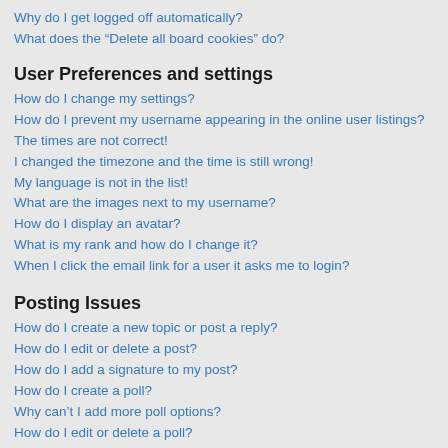Why do I get logged off automatically?
What does the “Delete all board cookies” do?
User Preferences and settings
How do I change my settings?
How do I prevent my username appearing in the online user listings?
The times are not correct!
I changed the timezone and the time is still wrong!
My language is not in the list!
What are the images next to my username?
How do I display an avatar?
What is my rank and how do I change it?
When I click the email link for a user it asks me to login?
Posting Issues
How do I create a new topic or post a reply?
How do I edit or delete a post?
How do I add a signature to my post?
How do I create a poll?
Why can’t I add more poll options?
How do I edit or delete a poll?
Why can’t I access a forum?
Why can’t I add attachments?